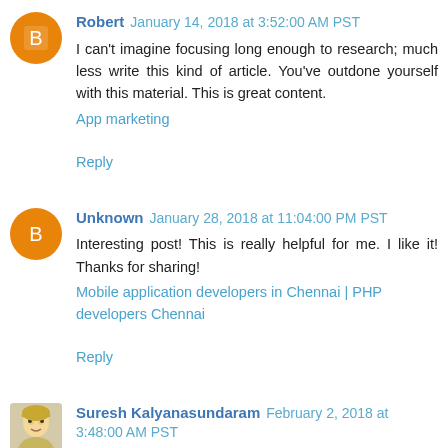Robert  January 14, 2018 at 3:52:00 AM PST
I can't imagine focusing long enough to research; much less write this kind of article. You've outdone yourself with this material. This is great content.
App marketing
Reply
Unknown  January 28, 2018 at 11:04:00 PM PST
Interesting post! This is really helpful for me. I like it! Thanks for sharing!
Mobile application developers in Chennai | PHP developers Chennai
Reply
Suresh Kalyanasundaram  February 2, 2018 at 3:48:00 AM PST
Very interesting post on mobile technologies. The pictures